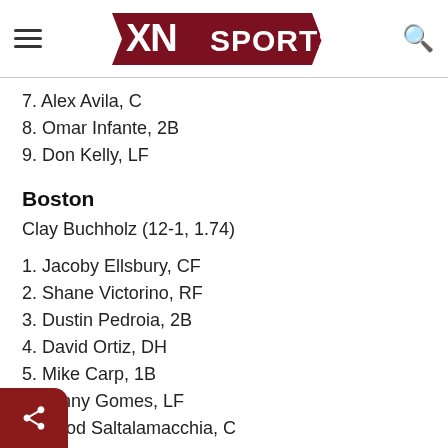XN SPORTS
7. Alex Avila, C
8. Omar Infante, 2B
9. Don Kelly, LF
Boston
Clay Buchholz (12-1, 1.74)
1. Jacoby Ellsbury, CF
2. Shane Victorino, RF
3. Dustin Pedroia, 2B
4. David Ortiz, DH
5. Mike Carp, 1B
6. Jonny Gomes, LF
arrod Saltalamacchia, C
Stephen Drew, SS